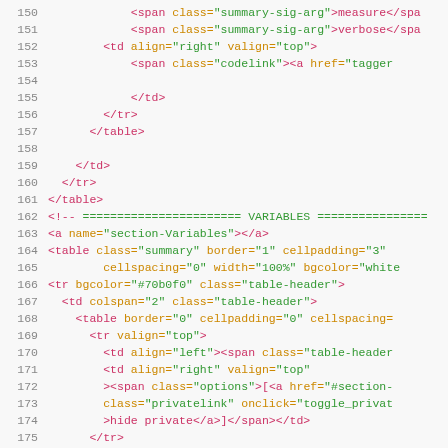[Figure (screenshot): Source code listing showing HTML/template code, lines 150-179, with syntax highlighting: line numbers in gray, tags in pink/red, attributes in orange, values in green.]